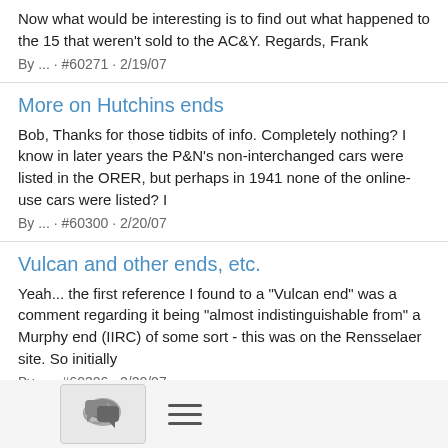Now what would be interesting is to find out what happened to the 15 that weren't sold to the AC&Y. Regards, Frank
By ... · #60271 · 2/19/07
More on Hutchins ends
Bob, Thanks for those tidbits of info. Completely nothing? I know in later years the P&N's non-interchanged cars were listed in the ORER, but perhaps in 1941 none of the online-use cars were listed? I
By ... · #60300 · 2/20/07
Vulcan and other ends, etc.
Yeah... the first reference I found to a "Vulcan end" was a comment regarding it being "almost indistinguishable from" a Murphy end (IIRC) of some sort - this was on the Rensselaer site. So initially
By ... · #60306 · 2/20/07
Car Travel
Not sure how this fits, or how much this was an actual policy, but
[Figure (screenshot): Bottom navigation bar with chat bubble icon button and hamburger menu icon]